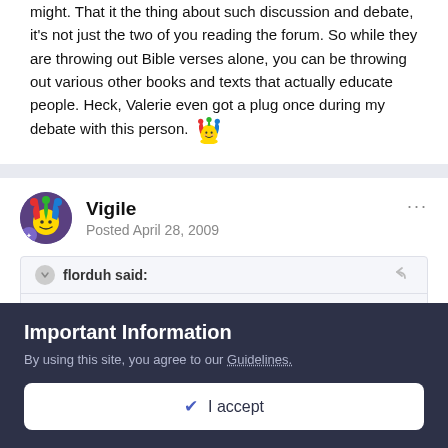might. That it the thing about such discussion and debate, it's not just the two of you reading the forum. So while they are throwing out Bible verses alone, you can be throwing out various other books and texts that actually educate people. Heck, Valerie even got a plug once during my debate with this person. [jester emoji]
Vigile
Posted April 28, 2009
florduh said:
One can't debate a god-bot who is brainwashed and wearing blinders
Important Information
By using this site, you agree to our Guidelines.
✔ I accept